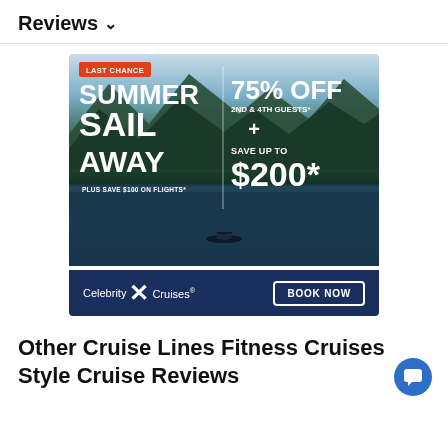Reviews ∨
[Figure (illustration): Celebrity Cruises advertisement: 'LAST CHANCE SUMMER SAIL AWAY - 75% OFF 2ND & 4TH GUESTS* + SAVE UP TO $200* PLUS SAVE $100 ON FLIGHTS*' with a Book Now button. Background shows a scenic lake with mountains and a kayaker.]
Other Cruise Lines Fitness Cruises Style Cruise Reviews